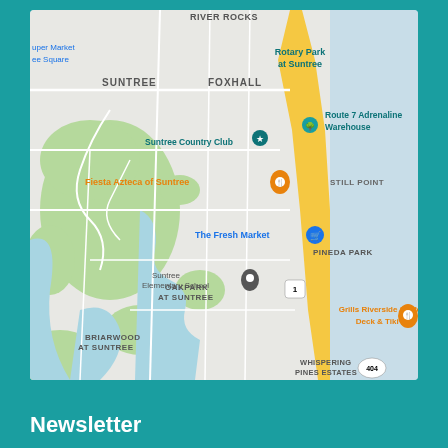[Figure (map): Google Maps screenshot showing the Suntree/Viera area of Brevard County, Florida, with landmarks including Rotary Park at Suntree, Route 7 Adrenaline Warehouse, Suntree Country Club, Fiesta Azteca of Suntree, The Fresh Market, Suntree Elementary School, Grills Riverside Seafood Deck & Tiki Bar, and neighborhoods SUNTREE, FOXHALL, STILL POINT, PINEDA PARK, OAKPARK AT SUNTREE, BRIARWOOD AT SUNTREE, SUNTREE CHALLENGE, WINDSOR, WHISPERING PINES ESTATES. A yellow road (US-1/Route 1) runs along the eastern portion, with the Indian River/Atlantic coast visible on the right.]
Newsletter